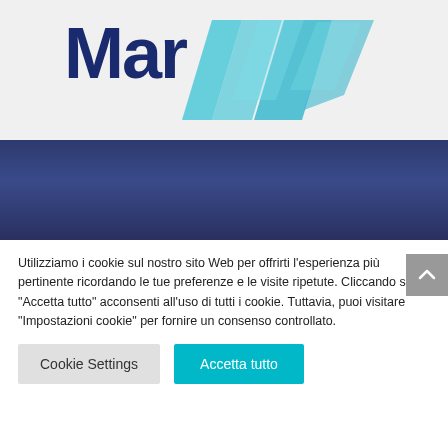[Figure (logo): Partial company logo — dark blue text 'Mar...' with teal/cyan diagonal parallelogram shapes on a light gray background]
[Figure (other): Dark navy blue gradient banner/header section]
Utilizziamo i cookie sul nostro sito Web per offrirti l'esperienza più pertinente ricordando le tue preferenze e le visite ripetute. Cliccando su "Accetta tutto" acconsenti all'uso di tutti i cookie. Tuttavia, puoi visitare "Impostazioni cookie" per fornire un consenso controllato.
Cookie Settings
Accetta tutto